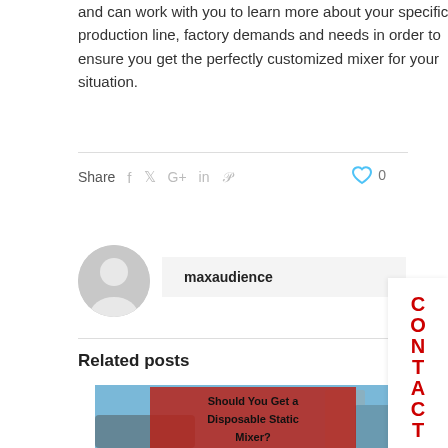and can work with you to learn more about your specific production line, factory demands and needs in order to ensure you get the perfectly customized mixer for your situation.
Share  0
[Figure (illustration): Avatar icon of a generic user profile silhouette in gray circle]
maxaudience
Related posts
[Figure (photo): Industrial equipment photo with red overlay and text 'Should You Get a Disposable Static Mixer?']